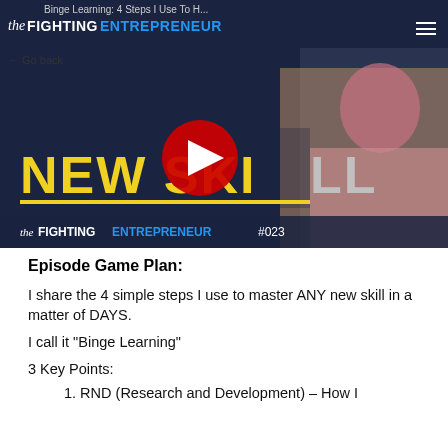Binge Learning: 4 Steps I Use To H...
[Figure (screenshot): YouTube video thumbnail showing 'NEW SKILL' text in yellow on dark background with The Fighting Entrepreneur #023 branding and a man in a pink shirt with arms crossed. A YouTube play button is overlaid.]
Episode Game Plan:
I share the 4 simple steps I use to master ANY new skill in a matter of DAYS.
I call it "Binge Learning"
3 Key Points:
1. RND (Research and Development) – How I